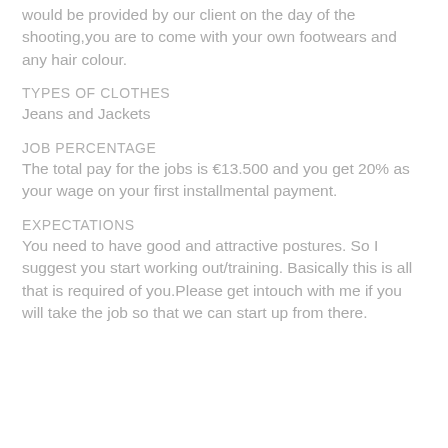would be provided by our client on the day of the shooting,you are to come with your own footwears and any hair colour.
TYPES OF CLOTHES
Jeans and Jackets
JOB PERCENTAGE
The total pay for the jobs is €13.500 and you get 20% as your wage on your first installmental payment.
EXPECTATIONS
You need to have good and attractive postures. So I suggest you start working out/training. Basically this is all that is required of you.Please get intouch with me if you will take the job so that we can start up from there.